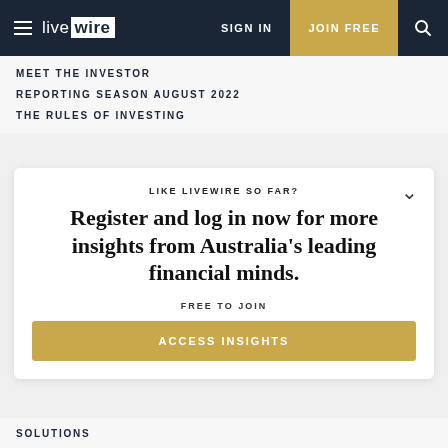live wire — SIGN IN | JOIN FREE
MEET THE INVESTOR
REPORTING SEASON AUGUST 2022
THE RULES OF INVESTING
LIKE LIVEWIRE SO FAR?
Register and log in now for more insights from Australia's leading financial minds.
FREE TO JOIN
ACCESS INSIGHTS
SOLUTIONS